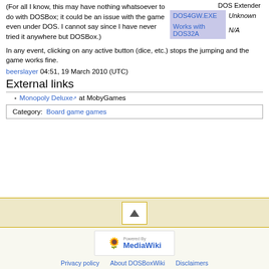(For all I know, this may have nothing whatsoever to do with DOSBox; it could be an issue with the game even under DOS. I cannot say since I have never tried it anywhere but DOSBox.)
| DOS Extender |  |
| --- | --- |
| DOS4GW.EXE | Unknown |
| Works with DOS32A | N/A |
In any event, clicking on any active button (dice, etc.) stops the jumping and the game works fine.
beerslayer 04:51, 19 March 2010 (UTC)
External links
Monopoly Deluxe at MobyGames
Category:  Board game games
[Figure (other): Scroll to top button with upward triangle]
[Figure (logo): Powered by MediaWiki badge]
Privacy policy   About DOSBoxWiki   Disclaimers